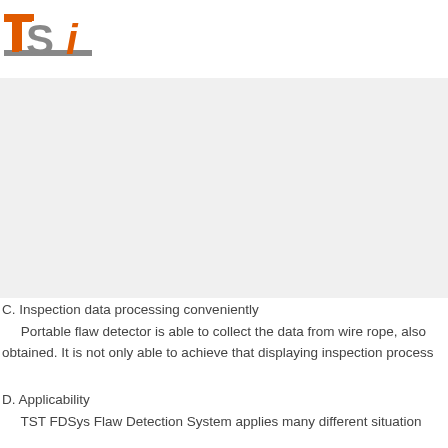[Figure (logo): TST company logo with orange T, gray S, and italic orange i letters with a gray horizontal bar underneath]
C. Inspection data processing conveniently
Portable flaw detector is able to collect the data from wire rope, also obtained. It is not only able to achieve that displaying inspection process
D. Applicability
TST FDSys Flaw Detection System applies many different situation